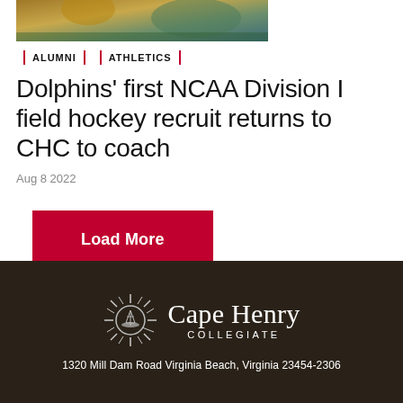[Figure (photo): Partial view of athletes on a sports field, cropped at top of page]
ALUMNI  |  ATHLETICS
Dolphins' first NCAA Division I field hockey recruit returns to CHC to coach
Aug 8 2022
Load More
[Figure (logo): Cape Henry Collegiate logo with sun/compass star emblem on dark brown background]
1320 Mill Dam Road Virginia Beach, Virginia 23454-2306